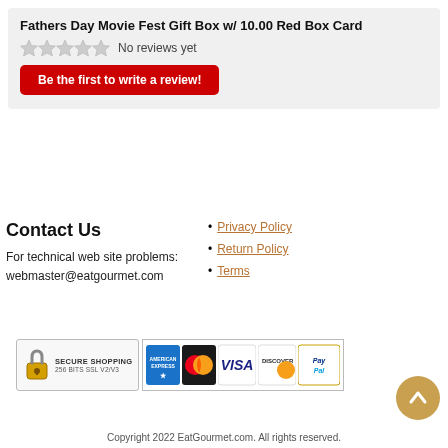Fathers Day Movie Fest Gift Box w/ 10.00 Red Box Card
No reviews yet
Be the first to write a review!
Contact Us
For technical web site problems:
webmaster@eatgourmet.com
Privacy Policy
Return Policy
Terms
[Figure (infographic): Secure Shopping 256 Bits SSL v2/v3 badge with padlock icon, followed by American Express, Mastercard, Visa, Discover, and PayPal payment logos]
Copyright 2022 EatGourmet.com. All rights reserved.